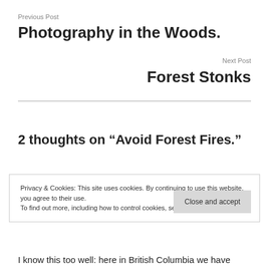Previous Post
Photography in the Woods.
Next Post
Forest Stonks
2 thoughts on “Avoid Forest Fires.”
Privacy & Cookies: This site uses cookies. By continuing to use this website, you agree to their use.
To find out more, including how to control cookies, see here: Cookie Policy
I know this too well: here in British Columbia we have